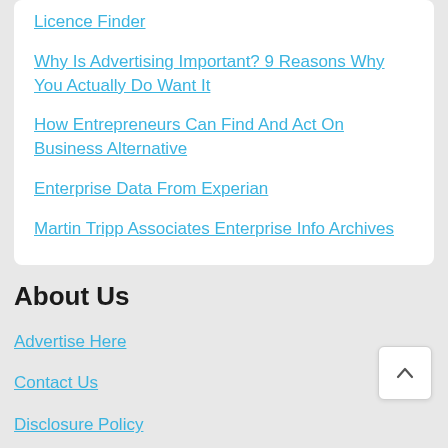Licence Finder
Why Is Advertising Important? 9 Reasons Why You Actually Do Want It
How Entrepreneurs Can Find And Act On Business Alternative
Enterprise Data From Experian
Martin Tripp Associates Enterprise Info Archives
About Us
Advertise Here
Contact Us
Disclosure Policy